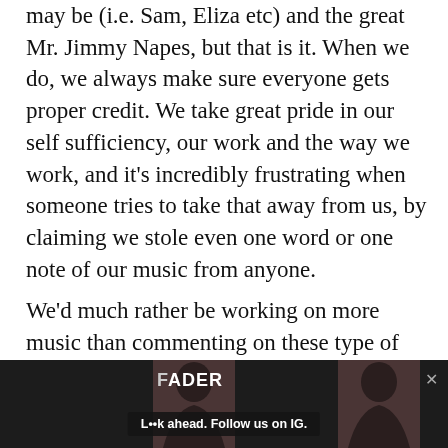may be (i.e. Sam, Eliza etc) and the great Mr. Jimmy Napes, but that is it. When we do, we always make sure everyone gets proper credit. We take great pride in our self sufficiency, our work and the way we work, and it's incredibly frustrating when someone tries to take that away from us, by claiming we stole even one word or one note of our music from anyone.
We'd much rather be working on more music than commenting on these type of things, but it felt like we had no choice... So, just to be clear, all allegations made against us to do with this subject are completely false, as anyone we have ever worked with will back up. We didn't
[Figure (other): FADER advertisement banner with two photos of a woman and text 'L••k ahead. Follow us on IG.']